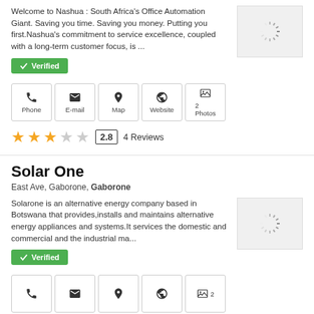Welcome to Nashua : South Africa's Office Automation Giant. Saving you time. Saving you money. Putting you first.Nashua's commitment to service excellence, coupled with a long-term customer focus, is ...
✓ Verified
Phone | E-mail | Map | Website | 2 Photos
★★★☆☆ 2.8 4 Reviews
Solar One
East Ave, Gaborone, Gaborone
Solarone is an alternative energy company based in Botswana that provides,installs and maintains alternative energy appliances and systems.It services the domestic and commercial and the industrial ma...
✓ Verified
Phone | E-mail | Map | Website | 2